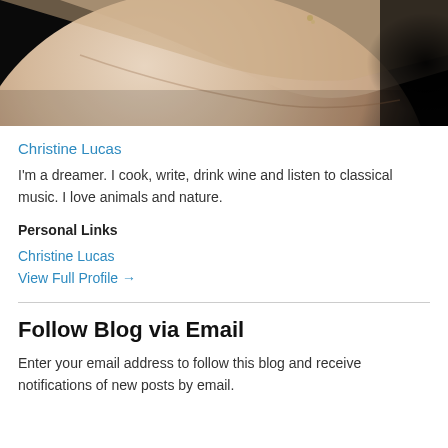[Figure (photo): Close-up photo of a person's neck and lower face against a dark background, wearing a small earring]
Christine Lucas
I'm a dreamer. I cook, write, drink wine and listen to classical music. I love animals and nature.
Personal Links
Christine Lucas
View Full Profile →
Follow Blog via Email
Enter your email address to follow this blog and receive notifications of new posts by email.